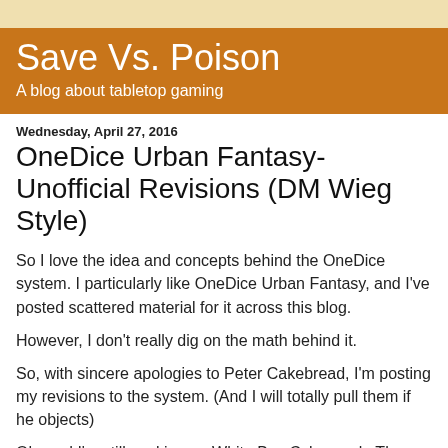Save Vs. Poison
A blog about tabletop gaming
Wednesday, April 27, 2016
OneDice Urban Fantasy- Unofficial Revisions (DM Wieg Style)
So I love the idea and concepts behind the OneDice system. I particularly like OneDice Urban Fantasy, and I've posted scattered material for it across this blog.
However, I don't really dig on the math behind it.
So, with sincere apologies to Peter Cakebread, I'm posting my revisions to the system. (And I will totally pull them if he objects)
Oh, and I'm still working on White Box Cyberpunk. These